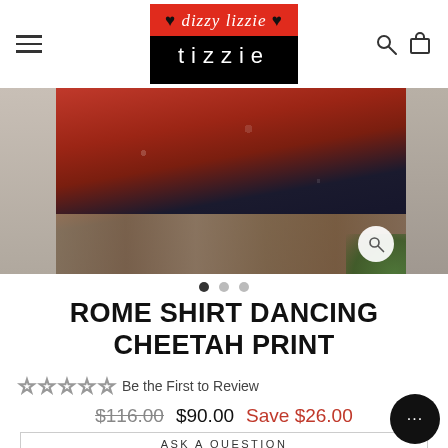[Figure (logo): Dizzy Lizzie Tizzie logo: red top with white italic text 'dizzy lizzie' with heart symbols, black bottom with white text 'tizzie']
[Figure (photo): Product photo of Rome Shirt Dancing Cheetah Print - red floral/cheetah print shirt worn by a person, against a wooden pallet background outdoors. Carousel with 3 dots, first dot active.]
ROME SHIRT DANCING CHEETAH PRINT
☆ ☆ ☆ ☆ ☆ Be the First to Review
$116.00  $90.00  Save $26.00
ASK A QUESTION